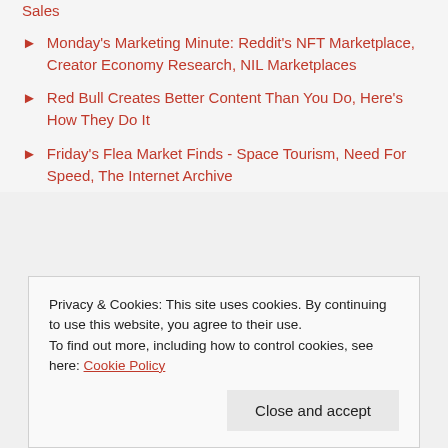Monday's Marketing Minute: Reddit's NFT Marketplace, Creator Economy Research, NIL Marketplaces
Red Bull Creates Better Content Than You Do, Here's How They Do It
Friday's Flea Market Finds - Space Tourism, Need For Speed, The Internet Archive
Privacy & Cookies: This site uses cookies. By continuing to use this website, you agree to their use.
To find out more, including how to control cookies, see here: Cookie Policy
Close and accept